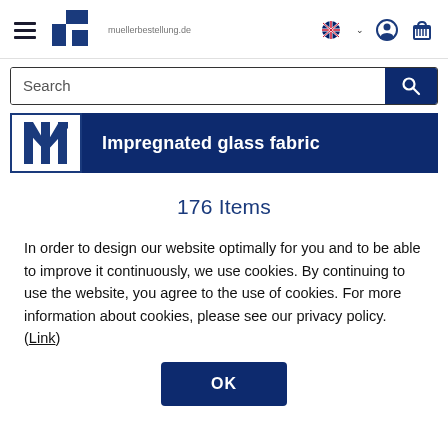muellerbestellung.de
Search
Impregnated glass fabric
176 Items
In order to design our website optimally for you and to be able to improve it continuously, we use cookies. By continuing to use the website, you agree to the use of cookies. For more information about cookies, please see our privacy policy. (Link)
OK